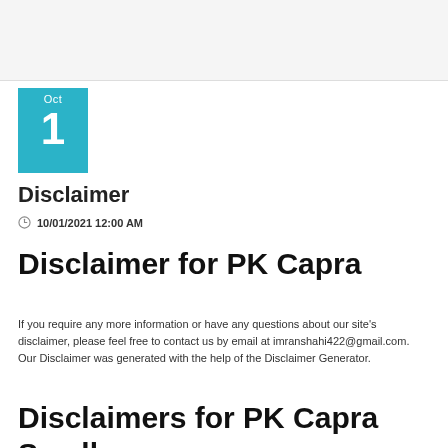[Figure (other): Calendar date block showing Oct 1 in teal/cyan color]
Disclaimer
10/01/2021 12:00 AM
Disclaimer for PK Capra
If you require any more information or have any questions about our site's disclaimer, please feel free to contact us by email at imranshahi422@gmail.com. Our Disclaimer was generated with the help of the Disclaimer Generator.
Disclaimers for PK Capra Small